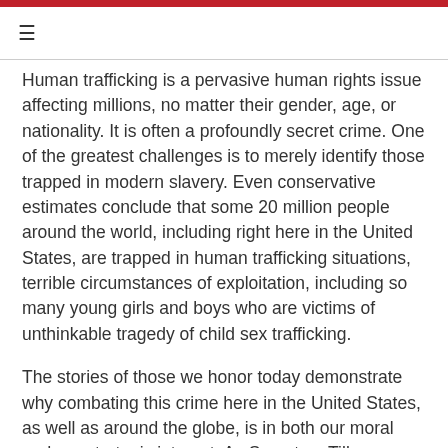≡
Human trafficking is a pervasive human rights issue affecting millions, no matter their gender, age, or nationality. It is often a profoundly secret crime. One of the greatest challenges is to merely identify those trapped in modern slavery. Even conservative estimates conclude that some 20 million people around the world, including right here in the United States, are trapped in human trafficking situations, terrible circumstances of exploitation, including so many young girls and boys who are victims of unthinkable tragedy of child sex trafficking.
The stories of those we honor today demonstrate why combating this crime here in the United States, as well as around the globe, is in both our moral and our strategic interest. As Secretary Tillerson noted earlier, ending human